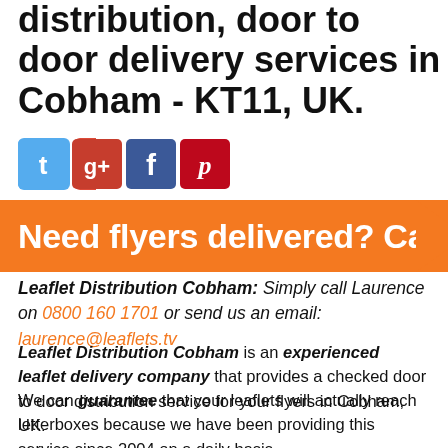distribution, door to door delivery services in Cobham - KT11, UK.
[Figure (logo): Social media icons: Twitter (blue bird), Google+ (red/orange G+), Facebook (blue f), Pinterest (red p)]
Need flyers delivered? Call
Leaflet Distribution Cobham: Simply call Laurence on 0800 160 1701 or send us an email: laurence@leaflets.tv
Leaflet Distribution Cobham is an experienced leaflet delivery company that provides a checked door to door distribution service for your flyers in Cobham, UK.
We can guarantee that your leaflets will actually reach letterboxes because we have been providing this service since 2004 on a daily basis.